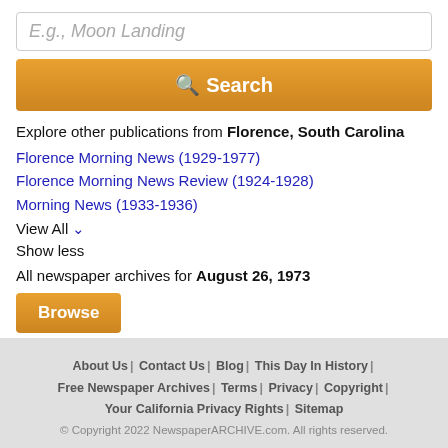E.g., Moon Landing
Search
Explore other publications from Florence, South Carolina
Florence Morning News (1929-1977)
Florence Morning News Review (1924-1928)
Morning News (1933-1936)
View All ˅
Show less
All newspaper archives for August 26, 1973
Browse
Start Free Trial ›
About Us | Contact Us | Blog | This Day In History | Free Newspaper Archives | Terms | Privacy | Copyright | Your California Privacy Rights | Sitemap
© Copyright 2022 NewspaperARCHIVE.com. All rights reserved.